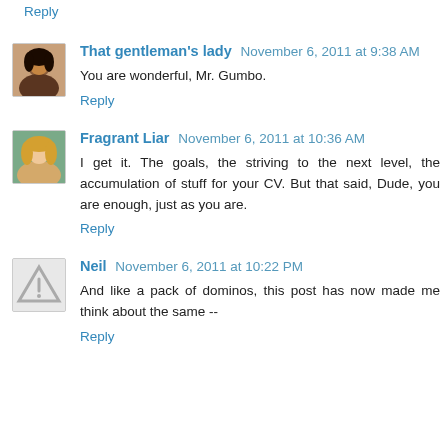Reply
That gentleman's lady  November 6, 2011 at 9:38 AM
You are wonderful, Mr. Gumbo.
Reply
Fragrant Liar  November 6, 2011 at 10:36 AM
I get it. The goals, the striving to the next level, the accumulation of stuff for your CV. But that said, Dude, you are enough, just as you are.
Reply
Neil  November 6, 2011 at 10:22 PM
And like a pack of dominos, this post has now made me think about the same --
Reply